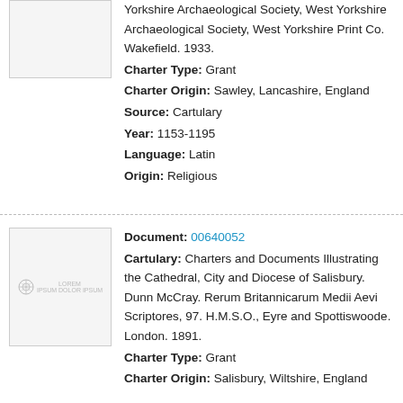Yorkshire Archaeological Society, West Yorkshire Archaeological Society, West Yorkshire Print Co. Wakefield. 1933.
Charter Type: Grant
Charter Origin: Sawley, Lancashire, England
Source: Cartulary
Year: 1153-1195
Language: Latin
Origin: Religious
[Figure (illustration): Thumbnail image placeholder for document 00640052 with a small logo/watermark]
Document: 00640052
Cartulary: Charters and Documents Illustrating the Cathedral, City and Diocese of Salisbury. Dunn McCray. Rerum Britannicarum Medii Aevi Scriptores, 97. H.M.S.O., Eyre and Spottiswoode. London. 1891.
Charter Type: Grant
Charter Origin: Salisbury, Wiltshire, England